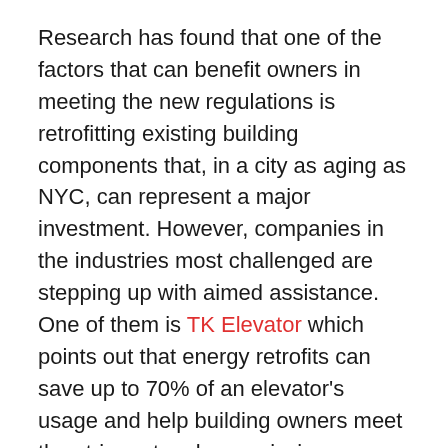Research has found that one of the factors that can benefit owners in meeting the new regulations is retrofitting existing building components that, in a city as aging as NYC, can represent a major investment. However, companies in the industries most challenged are stepping up with aimed assistance. One of them is TK Elevator which points out that energy retrofits can save up to 70% of an elevator's usage and help building owners meet the stringent carbon-emission reduction mandates of Local Law 97.
Building owners will be required to obtain Building Energy Efficiency Rating label and display these labels at public entrances. The labels will include the Energy Star Score with corresponding grade. Local Law 97 ...